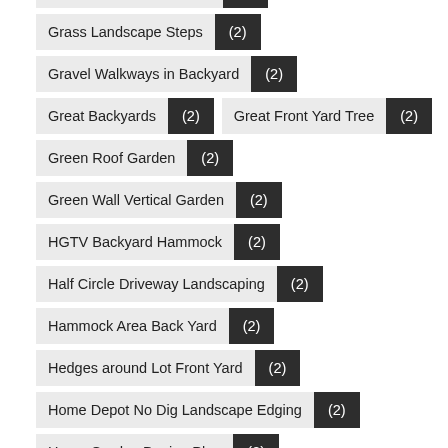Good Trees for BackYard (2)
Grass Landscape Steps (2)
Gravel Walkways in Backyard (2)
Great Backyards (2)
Great Front Yard Tree (2)
Green Roof Garden (2)
Green Wall Vertical Garden (2)
HGTV Backyard Hammock (2)
Half Circle Driveway Landscaping (2)
Hammock Area Back Yard (2)
Hedges around Lot Front Yard (2)
Home Depot No Dig Landscape Edging (2)
Home Garden Design Plan (2)
Homes with Rooftop Gardens (2)